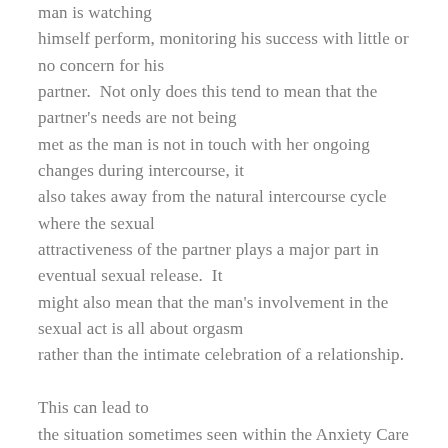man is watching himself perform, monitoring his success with little or no concern for his partner.  Not only does this tend to mean that the partner's needs are not being met as the man is not in touch with her ongoing changes during intercourse, it also takes away from the natural intercourse cycle where the sexual attractiveness of the partner plays a major part in eventual sexual release.  It might also mean that the man's involvement in the sexual act is all about orgasm rather than the intimate celebration of a relationship.

This can lead to the situation sometimes seen within the Anxiety Care groups, where a man with an anxiety disorder involving his self-worth has a